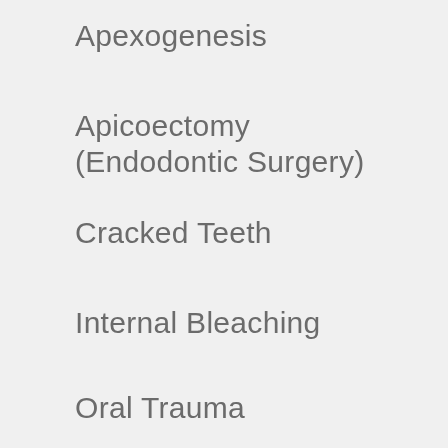Apexogenesis
Apicoectomy (Endodontic Surgery)
Cracked Teeth
Internal Bleaching
Oral Trauma